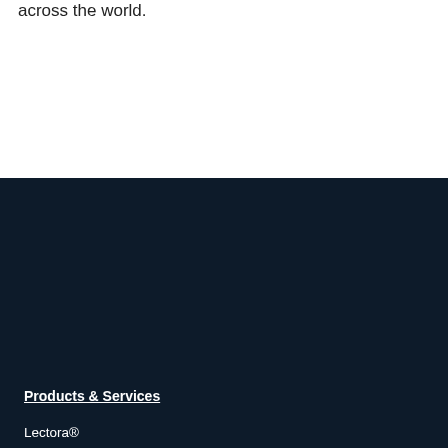across the world.
Products & Services
Lectora®
Asset Library™
CenarioVR®
ReviewLink®
The Training Arcade®
Rockstar Learning Platform
Off-The-Shelf Courseware
Custom Course Development